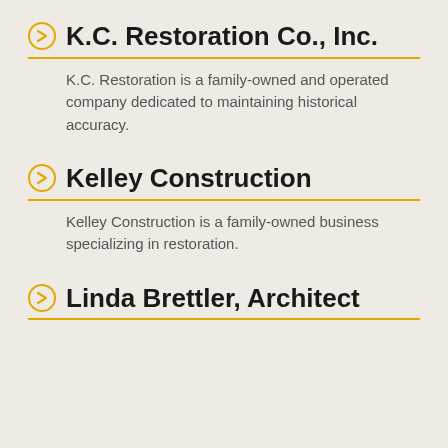K.C. Restoration Co., Inc.
K.C. Restoration is a family-owned and operated company dedicated to maintaining historical accuracy.
Kelley Construction
Kelley Construction is a family-owned business specializing in restoration.
Linda Brettler, Architect